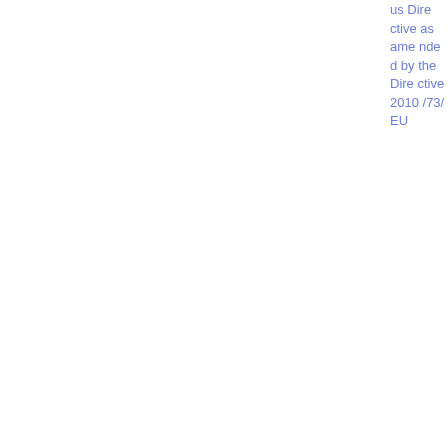us Directives as amended by the Directive 2010/73/EU
| Date | Number | Title | Tags | File |
| --- | --- | --- | --- | --- |
| 01/03/2012 | 2012/138 | ESMA's technical advice on poss... | Prospectus | Corporate Disclosure | PDF 94.68 KB |